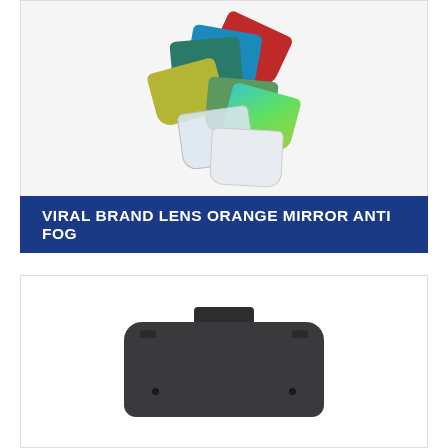[Figure (photo): Multiple colored goggle lenses fanned out in a stack showing various colors including red, blue, teal, yellow, green, iridescent, clear/white]
VIRAL BRAND LENS ORANGE MIRROR ANTI FOG
[Figure (photo): Dark gray/charcoal colored goggle frame viewed from the front, showing attachment clips at top and two small round ventilation dots]